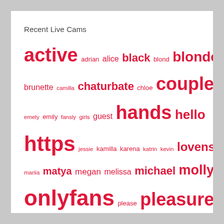Recent Live Cams
[Figure (infographic): Tag cloud with words of varying sizes in red, representing recent live cam tags. Larger words indicate higher frequency. Words include: active, adrian, alice, black, blond, blonde, brunette, camilla, chaturbate, chloe, couple, danny, david, emely, emily, fansly, girls, guest, hands, hello, https, jessie, kamilla, karena, katrin, kevin, lovense, mariia, matya, megan, melissa, michael, molly, onlyfans, please, pleasure, private, redhead, sarah, sofia, tiana, together, vibrations, welcome, world]